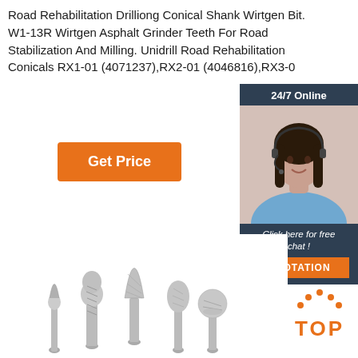Road Rehabilitation Drilliong Conical Shank Wirtgen Bit. W1-13R Wirtgen Asphalt Grinder Teeth For Road Stabilization And Milling. Unidrill Road Rehabilitation Conicals RX1-01 (4071237),RX2-01 (4046816),RX3-0
[Figure (other): Chat widget with a female customer service representative wearing a headset, dark background with '24/7 Online' header, 'Click here for free chat!' text, and a 'QUOTATION' button]
Get Price
[Figure (photo): Five carbide burr/drill bits of various shapes (conical, cylindrical, pointed, flame, ball) displayed against white background]
[Figure (logo): TOP logo in orange with decorative dots forming an arch above the letters]